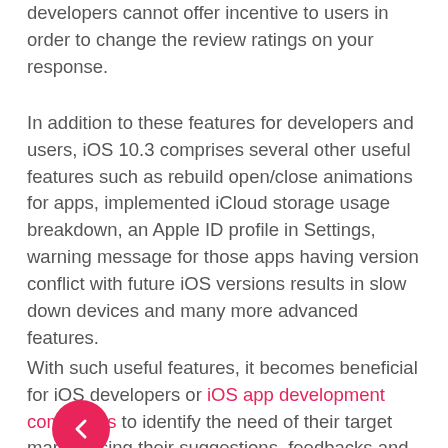developers cannot offer incentive to users in order to change the review ratings on your response.
In addition to these features for developers and users, iOS 10.3 comprises several other useful features such as rebuild open/close animations for apps, implemented iCloud storage usage breakdown, an Apple ID profile in Settings, warning message for those apps having version conflict with future iOS versions results in slow down devices and many more advanced features.
With such useful features, it becomes beneficial for iOS developers or iOS app development companies to identify the need of their target market using their suggestions, feedbacks and reviews. With the help of communication with